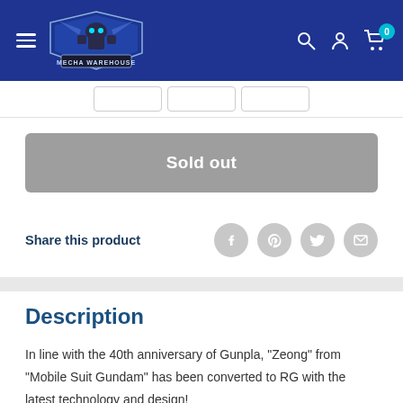[Figure (logo): Mecha Warehouse logo with blue robot mech figure and text on dark blue header background]
Sold out
Share this product
Description
In line with the 40th anniversary of Gunpla, "Zeong" from "Mobile Suit Gundam" has been converted to RG with the latest technology and design!